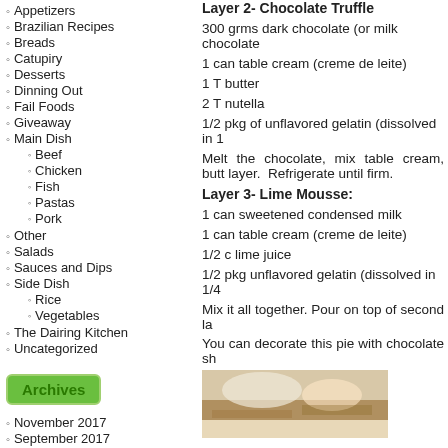Appetizers
Brazilian Recipes
Breads
Catupiry
Desserts
Dinning Out
Fail Foods
Giveaway
Main Dish
Beef
Chicken
Fish
Pastas
Pork
Other
Salads
Sauces and Dips
Side Dish
Rice
Vegetables
The Dairing Kitchen
Uncategorized
Archives
November 2017
September 2017
Layer 2- Chocolate Truffle
300 grms dark chocolate (or milk chocolate
1 can table cream (creme de leite)
1 T butter
2 T nutella
1/2 pkg of unflavored gelatin (dissolved in 1
Melt the chocolate, mix table cream, butt layer.  Refrigerate until firm.
Layer 3- Lime Mousse:
1 can sweetened condensed milk
1 can table cream (creme de leite)
1/2 c lime juice
1/2 pkg unflavored gelatin (dissolved in 1/4
Mix it all together. Pour on top of second la
You can decorate this pie with chocolate sh
[Figure (photo): Photo of a slice of pie with layers, showing chocolate and cream layers]